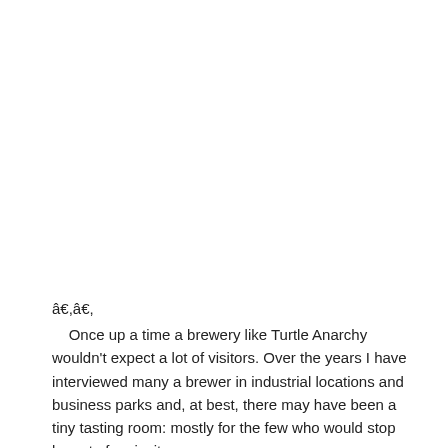â€,â€,
Once up a time a brewery like Turtle Anarchy wouldn't expect a lot of visitors. Over the years I have interviewed many a brewer in industrial locations and business parks and, at best, there may have been a tiny tasting room: mostly for the few who would stop by out of curiosity.